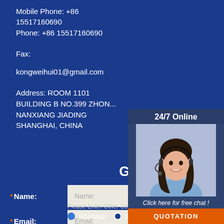Mobile Phone: +86 15517160690
Phone: +86 15517160690
Fax:
kongweihui01@gmail.com
Address: ROOM 1101 BUILDING B NO.399 ZHON... NANXIANG JIADING SHANGHAI, CHINA
[Figure (illustration): Chat widget with 24/7 Online label, photo of woman with headset, Click here for free chat text, and QUOTATION button]
Get Solutions & Quotatio...
*Name:
*Email:
Please Enter Other Contact Information
Whatsapp  Wechat  Skype